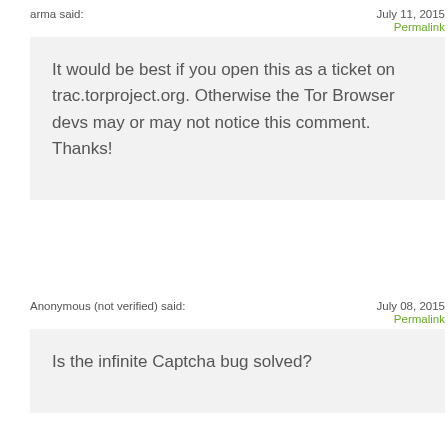arma said:
July 11, 2015
Permalink
It would be best if you open this as a ticket on trac.torproject.org. Otherwise the Tor Browser devs may or may not notice this comment. Thanks!
Anonymous (not verified) said:
July 08, 2015
Permalink
Is the infinite Captcha bug solved?